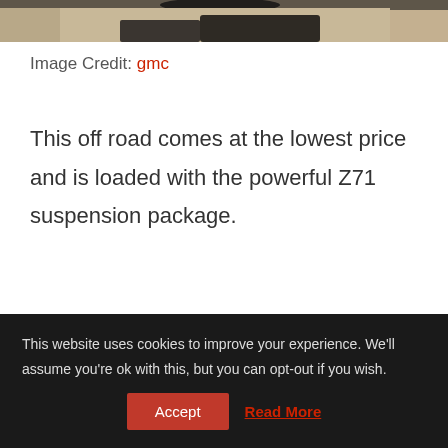[Figure (photo): Partial view of a vehicle on a dirt/sand surface, showing the lower body/wheel area of the vehicle]
Image Credit: gmc
This off road comes at the lowest price and is loaded with the powerful Z71 suspension package.
This website uses cookies to improve your experience. We'll assume you're ok with this, but you can opt-out if you wish.